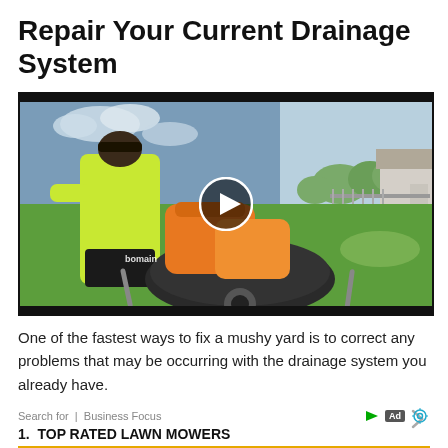Repair Your Current Drainage System
[Figure (photo): Video thumbnail showing a person in a high-visibility yellow jacket and dark shorts loading orange bags of material into a wheelbarrow on a lawn. A white play button circle overlay is in the center of the image. Background shows a house with a garden.]
One of the fastest ways to fix a mushy yard is to correct any problems that may be occurring with the drainage system you already have.
Search for | Business Focus
1. TOP RATED LAWN MOWERS